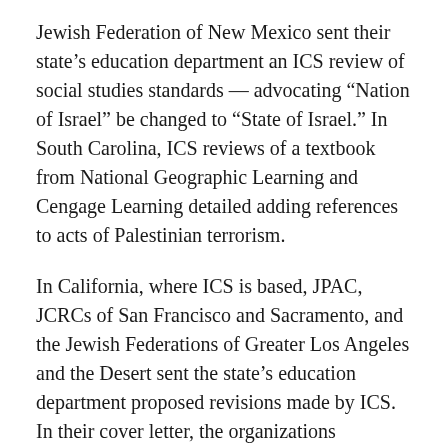Jewish Federation of New Mexico sent their state's education department an ICS review of social studies standards — advocating “Nation of Israel” be changed to “State of Israel.” In South Carolina, ICS reviews of a textbook from National Geographic Learning and Cengage Learning detailed adding references to acts of Palestinian terrorism.
In California, where ICS is based, JPAC, JCRCs of San Francisco and Sacramento, and the Jewish Federations of Greater Los Angeles and the Desert sent the state’s education department proposed revisions made by ICS. In their cover letter, the organizations commended California for accepting previous ICS edits.
ICS reviewed the textbooks from Houghton Mifflin